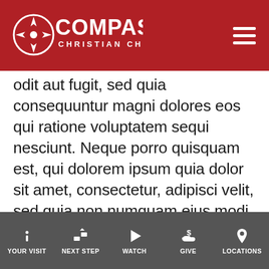COMPASS CHRISTIAN CHURCH
odit aut fugit, sed quia consequuntur magni dolores eos qui ratione voluptatem sequi nesciunt. Neque porro quisquam est, qui dolorem ipsum quia dolor sit amet, consectetur, adipisci velit, sed quia non numquam eius modi tempora incidunt ut labore et dolore magnam aliquam quaerat voluptatem. Ut enim ad minima veniam, quis nostrum exercitationem ullam corporis suscipit laboriosam, nisi ut aliquid ex ea commodi consequatur? Quis autem vel eum iure reprehenderit qui in ea voluptate velit esse quam nihil molestiae consequatur, vel illum qui dolorem eum fugiat que
YOUR VISIT | NEXT STEP | WATCH | GIVE | LOCATIONS